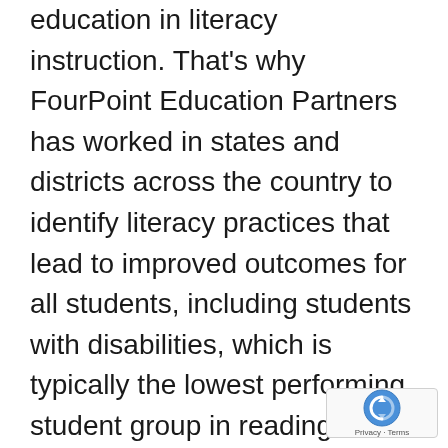education in literacy instruction. That's why FourPoint Education Partners has worked in states and districts across the country to identify literacy practices that lead to improved outcomes for all students, including students with disabilities, which is typically the lowest performing student group in reading. We focus on grounding teacher education—in higher education and professional learning on the job—in research-based reading strategies. In districts like Garden City Public Schools in Kansas, Waukegan Public Schools in Illinois, as well as district and charter schools in Los Angeles and Washington, D.C., FourPoint has